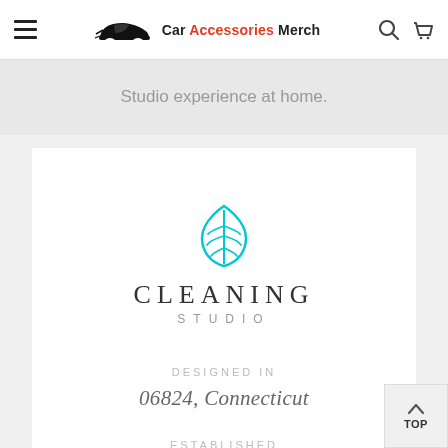Car Accessories Merch
Studio experience at home.
[Figure (logo): Cleaning Studio logo: a cyan leaf icon above the text CLEANING STUDIO]
DESIGNED IN
06824, Connecticut
ESTABLISHED
2015